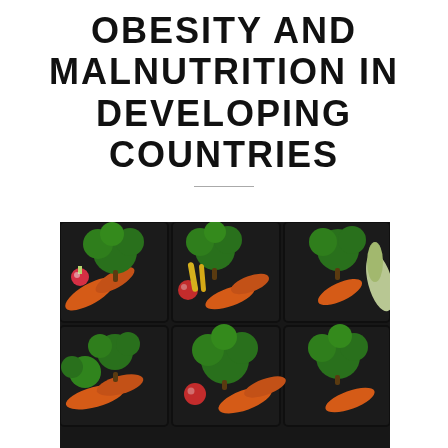OBESITY AND MALNUTRITION IN DEVELOPING COUNTRIES
[Figure (photo): Rows of black plastic meal prep trays filled with fresh vegetables including broccoli florets, baby carrots, cherry tomatoes, radishes, and yellow/orange bell pepper strips, photographed from a diagonal overhead angle.]